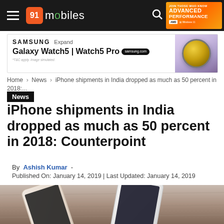91mobiles navigation bar
[Figure (screenshot): Samsung Galaxy Watch5 | Watch5 Pro advertisement banner]
Home › News › iPhone shipments in India dropped as much as 50 percent in 2018:...
News
iPhone shipments in India dropped as much as 50 percent in 2018: Counterpoint
By Ashish Kumar -
Published On: January 14, 2019 | Last Updated: January 14, 2019
[Figure (photo): Hero photo showing multiple iPhones (gold and silver) on a wooden surface]